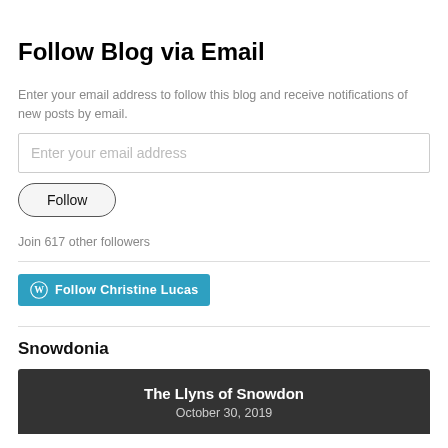Follow Blog via Email
Enter your email address to follow this blog and receive notifications of new posts by email.
[Figure (other): Email address input field with placeholder text 'Enter your email address']
[Figure (other): Follow button with rounded border]
Join 617 other followers
[Figure (other): WordPress Follow Christine Lucas button in blue]
Snowdonia
The Llyns of Snowdon
October 30, 2019